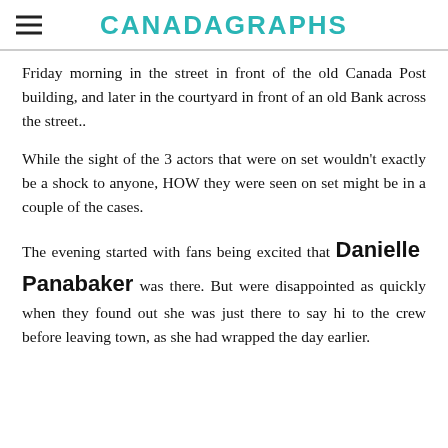CANADAGRAPHS
Friday morning in the street in front of the old Canada Post building, and later in the courtyard in front of an old Bank across the street..
While the sight of the 3 actors that were on set wouldn't exactly be a shock to anyone, HOW they were seen on set might be in a couple of the cases.
The evening started with fans being excited that Danielle Panabaker was there. But were disappointed as quickly when they found out she was just there to say hi to the crew before leaving town, as she had wrapped the day earlier.